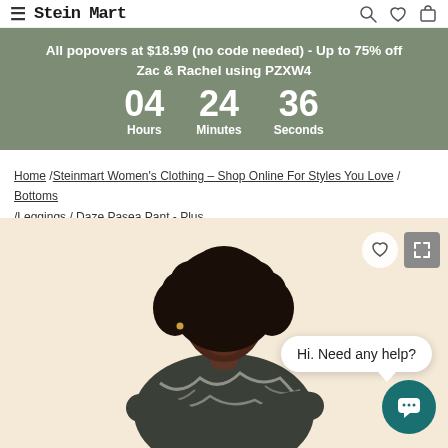≡ Stein Mart
All popovers at $18.99 (no code needed) - Up to 75% off Zac & Rachel using PZXW4 | 04 Hours  24 Minutes  36 Seconds
Home / Steinmart Women's Clothing – Shop Online For Styles You Love / Bottoms / Leggings / Daze Pasea Pant - Plus
[Figure (photo): Woman wearing a dark tie-dye patterned top, with curly hair, arms crossed, against a light beige background. Chat bubble says 'Hi. Need any help?' with a teal chat icon.]